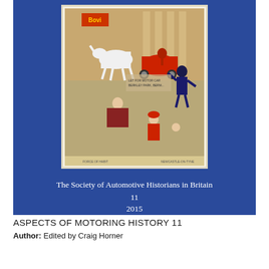[Figure (illustration): Book cover with blue background. Features a vintage comic illustration of a chaotic early automobile street scene: a red early motor car startling a horse-drawn carriage, people falling and scattering on a cobblestone street, a policeman, an elderly woman, and children in comical poses. Text on cover reads 'The Society of Automotive Historians in Britain', '11', '2015'.]
ASPECTS OF MOTORING HISTORY 11
Author: Edited by Craig Horner